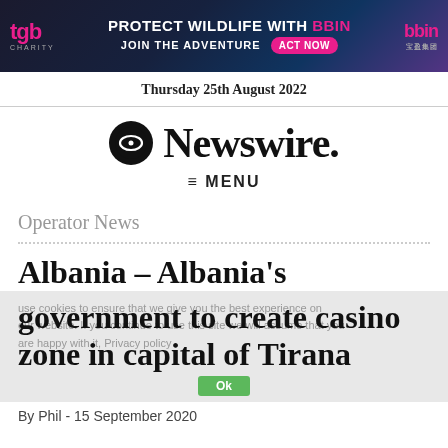[Figure (illustration): BBIN charity wildlife advertisement banner with tigers, pink and dark blue background, featuring tgb charity logo on left, 'Protect Wildlife with BBIN JOIN THE ADVENTURE ACT NOW' text in center, and bbin logo on right]
Thursday 25th August 2022
G3 Newswire.
≡ MENU
Operator News
Albania – Albania's government to create casino zone in capital of Tirana
By Phil - 15 September 2020